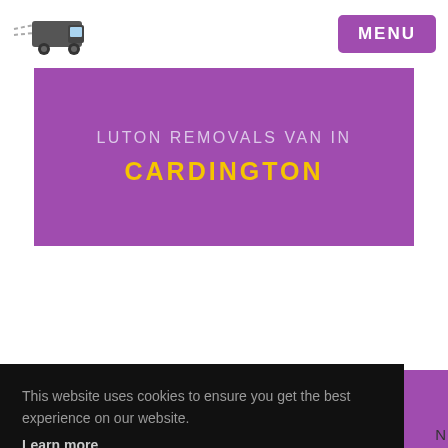MENU
LUTON REMOVALS VAN IN
CARDINGTON
IMPORTANT INFORMATION
This website uses cookies to ensure you get the best experience on our website.
Learn more
Got it!